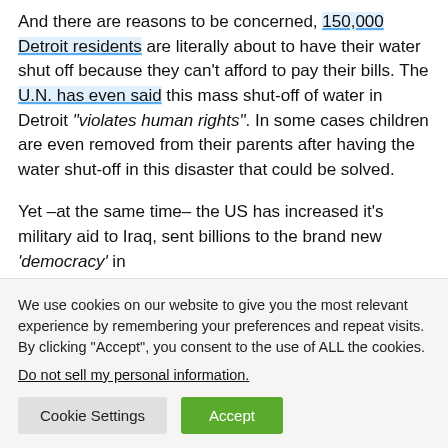And there are reasons to be concerned, 150,000 Detroit residents are literally about to have their water shut off because they can't afford to pay their bills. The U.N. has even said this mass shut-off of water in Detroit "violates human rights". In some cases children are even removed from their parents after having the water shut-off in this disaster that could be solved.
Yet –at the same time– the US has increased it's military aid to Iraq, sent billions to the brand new 'democracy' in
We use cookies on our website to give you the most relevant experience by remembering your preferences and repeat visits. By clicking "Accept", you consent to the use of ALL the cookies.
Do not sell my personal information.